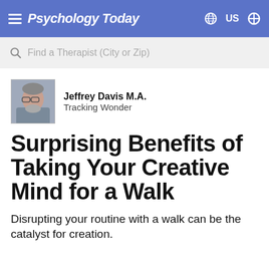Psychology Today
Find a Therapist (City or Zip)
[Figure (photo): Headshot of Jeffrey Davis M.A., a middle-aged man with glasses and a beard, wearing a grey shirt]
Jeffrey Davis M.A.
Tracking Wonder
Surprising Benefits of Taking Your Creative Mind for a Walk
Disrupting your routine with a walk can be the catalyst for creation.